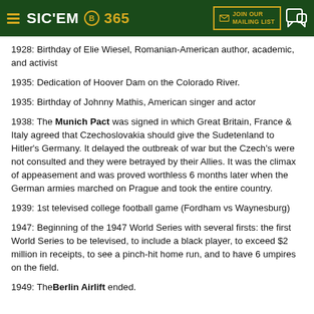SIC'EM 365 — JOIN OUR MAILING LIST
1928: Birthday of Elie Wiesel, Romanian-American author, academic, and activist
1935: Dedication of Hoover Dam on the Colorado River.
1935: Birthday of Johnny Mathis, American singer and actor
1938: The Munich Pact was signed in which Great Britain, France & Italy agreed that Czechoslovakia should give the Sudetenland to Hitler's Germany. It delayed the outbreak of war but the Czech's were not consulted and they were betrayed by their Allies. It was the climax of appeasement and was proved worthless 6 months later when the German armies marched on Prague and took the entire country.
1939: 1st televised college football game (Fordham vs Waynesburg)
1947: Beginning of the 1947 World Series with several firsts: the first World Series to be televised, to include a black player, to exceed $2 million in receipts, to see a pinch-hit home run, and to have 6 umpires on the field.
1949: The Berlin Airlift ended.